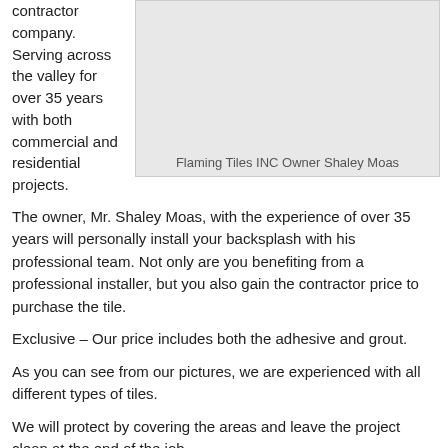contractor company. Serving across the valley for over 35 years with both commercial and residential projects.
[Figure (photo): Photo placeholder of Flaming Tiles INC Owner Shaley Moas]
Flaming Tiles INC Owner Shaley Moas
The owner, Mr. Shaley Moas, with the experience of over 35 years will personally install your backsplash with his professional team. Not only are you benefiting from a professional installer, but you also gain the contractor price to purchase the tile.
Exclusive – Our price includes both the adhesive and grout.
As you can see from our pictures, we are experienced with all different types of tiles.
We will protect by covering the areas and leave the project clean at the end of the job.
We have created endless options of designs when choosing a unique backsplash that fits your imagination.
These are the following steps for your new installation: